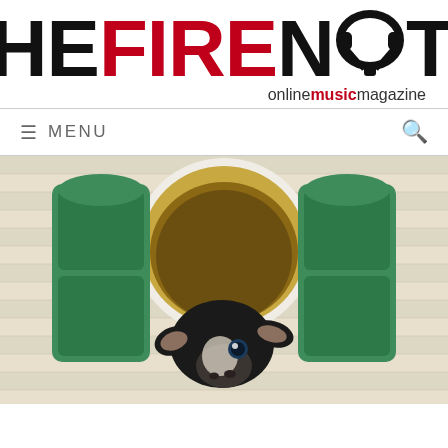[Figure (logo): The Fire Note online music magazine logo with headphones icon replacing the letter O in NOTE. THE is in black, FIRE is in red, NOTE has a headphone replacing O in black.]
online music magazine
≡ MENU
[Figure (photo): A small black baby goat peeking through a decorative plastic toy house window with open green shutters. The background is cream/beige colored siding.]